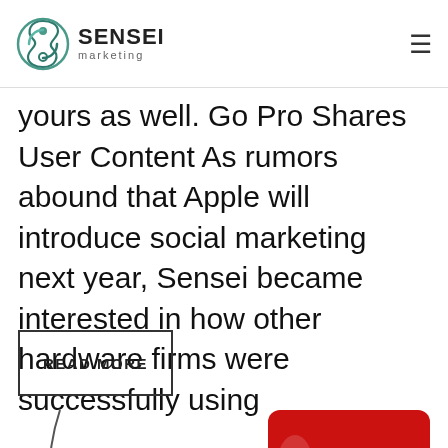SENSEI marketing
yours as well. Go Pro Shares User Content As rumors abound that Apple will introduce social marketing next year, Sensei became interested in how other hardware firms were successfully using
READ MORE
[Figure (photo): Coca-Cola can or bottle image partially visible at the bottom of the page, centered, with curved lines on either side suggesting a round shape]